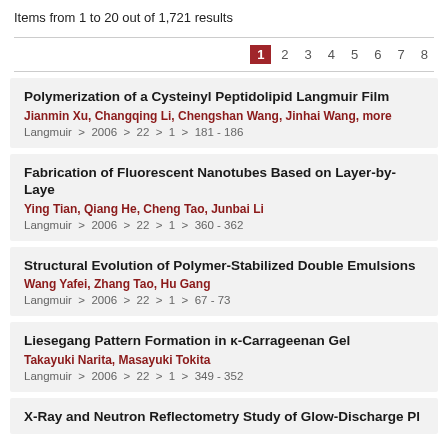Items from 1 to 20 out of 1,721 results
1 2 3 4 5 6 7 8
Polymerization of a Cysteinyl Peptidolipid Langmuir Film
Jianmin Xu, Changqing Li, Chengshan Wang, Jinhai Wang, more
Langmuir > 2006 > 22 > 1 > 181 - 186
Fabrication of Fluorescent Nanotubes Based on Layer-by-Laye
Ying Tian, Qiang He, Cheng Tao, Junbai Li
Langmuir > 2006 > 22 > 1 > 360 - 362
Structural Evolution of Polymer-Stabilized Double Emulsions
Wang Yafei, Zhang Tao, Hu Gang
Langmuir > 2006 > 22 > 1 > 67 - 73
Liesegang Pattern Formation in κ-Carrageenan Gel
Takayuki Narita, Masayuki Tokita
Langmuir > 2006 > 22 > 1 > 349 - 352
X-Ray and Neutron Reflectometry Study of Glow-Discharge Pl...